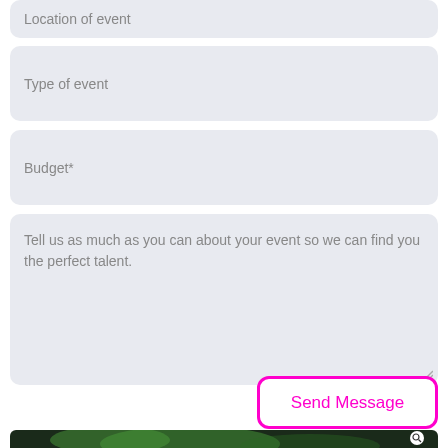Location of event
Type of event
Budget*
Tell us as much as you can about your event so we can find you the perfect talent.
Send Message
[Figure (photo): Dark atmospheric photo with green smoke and a figure, partially visible at the bottom of the page, with a search magnifier icon overlay.]